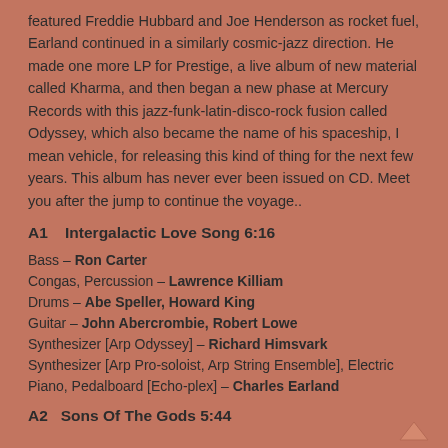featured Freddie Hubbard and Joe Henderson as rocket fuel, Earland continued in a similarly cosmic-jazz direction. He made one more LP for Prestige, a live album of new material called Kharma, and then began a new phase at Mercury Records with this jazz-funk-latin-disco-rock fusion called Odyssey, which also became the name of his spaceship, I mean vehicle, for releasing this kind of thing for the next few years. This album has never ever been issued on CD. Meet you after the jump to continue the voyage..
A1    Intergalactic Love Song  6:16
Bass – Ron Carter
Congas, Percussion – Lawrence Killiam
Drums – Abe Speller, Howard King
Guitar – John Abercrombie, Robert Lowe
Synthesizer [Arp Odyssey] – Richard Himsvark
Synthesizer [Arp Pro-soloist, Arp String Ensemble], Electric Piano, Pedalboard [Echo-plex] – Charles Earland
A2    Sons Of The Gods  5:44